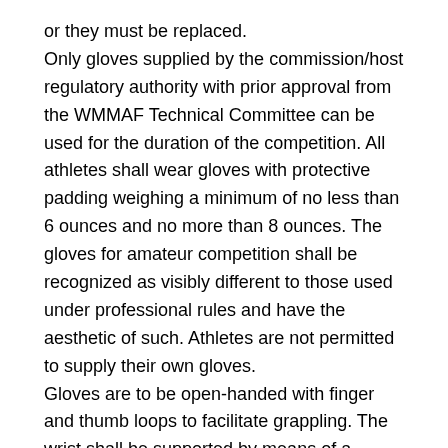or they must be replaced.
Only gloves supplied by the commission/host regulatory authority with prior approval from the WMMAF Technical Committee can be used for the duration of the competition. All athletes shall wear gloves with protective padding weighing a minimum of no less than 6 ounces and no more than 8 ounces. The gloves for amateur competition shall be recognized as visibly different to those used under professional rules and have the aesthetic of such. Athletes are not permitted to supply their own gloves.
Gloves are to be open-handed with finger and thumb loops to facilitate grappling. The wrist shall be supported by means of a Velcro strap. No lace-up gloves are permitted.
Gloves shall be colored either Red or Blue.
Shin guards
The use of shin guards and rash guards shall be a